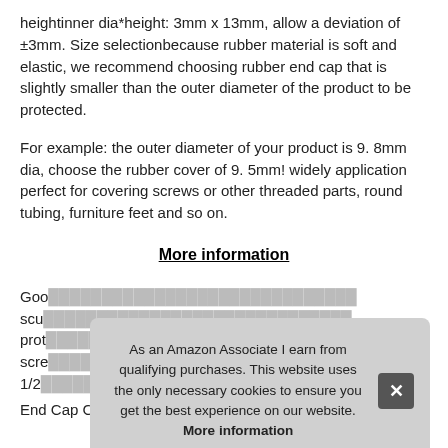heightinner dia*height: 3mm x 13mm, allow a deviation of ±3mm. Size selectionbecause rubber material is soft and elastic, we recommend choosing rubber end cap that is slightly smaller than the outer diameter of the product to be protected.
For example: the outer diameter of your product is 9. 8mm dia, choose the rubber cover of 9. 5mm! widely application perfect for covering screws or other threaded parts, round tubing, furniture feet and so on.
More information
Goo[obscured by modal] [partially visible text] scu[obscured] prot[obscured] scre[obscured] 1/2[obscured]
End Cap Covers.
As an Amazon Associate I earn from qualifying purchases. This website uses the only necessary cookies to ensure you get the best experience on our website. More information